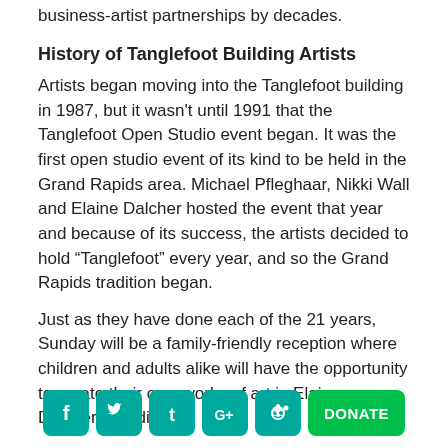business-artist partnerships by decades.
History of Tanglefoot Building Artists
Artists began moving into the Tanglefoot building in 1987, but it wasn't until 1991 that the Tanglefoot Open Studio event began. It was the first open studio event of its kind to be held in the Grand Rapids area. Michael Pfleghaar, Nikki Wall and Elaine Dalcher hosted the event that year and because of its success, the artists decided to hold “Tanglefoot” every year, and so the Grand Rapids tradition began.
Just as they have done each of the 21 years, Sunday will be a family-friendly reception where children and adults alike will have the opportunity to create their own works of art in Elaine Dalcher’s studio.
[Figure (infographic): Social media icons (Facebook, Twitter, Tumblr, Google+, Reddit) and a green Donate button]